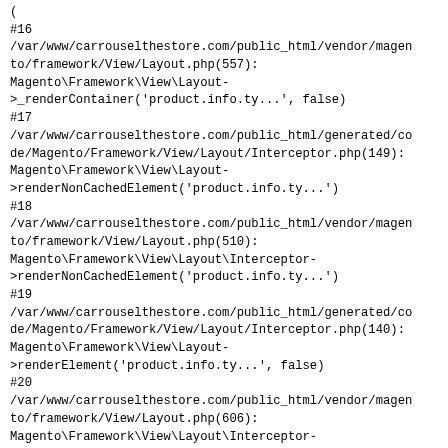#16
/var/www/carrouselthestore.com/public_html/vendor/magento/framework/View/Layout.php(557):
Magento\Framework\View\Layout->_renderContainer('product.info.ty...', false)
#17
/var/www/carrouselthestore.com/public_html/generated/code/Magento/Framework/View/Layout/Interceptor.php(149):
Magento\Framework\View\Layout->renderNonCachedElement('product.info.ty...')
#18
/var/www/carrouselthestore.com/public_html/vendor/magento/framework/View/Layout.php(510):
Magento\Framework\View\Layout\Interceptor->renderNonCachedElement('product.info.ty...')
#19
/var/www/carrouselthestore.com/public_html/generated/code/Magento/Framework/View/Layout/Interceptor.php(140):
Magento\Framework\View\Layout->renderElement('product.info.ty...', false)
#20
/var/www/carrouselthestore.com/public_html/vendor/magento/framework/View/Layout.php(606):
Magento\Framework\View\Layout\Interceptor->renderElement('product.info.ty...', false)
#21
/var/www/carrouselthestore.com/public_html/vendor/magento/framework/View/Layout.php(557):
Magento\Framework\View\Layout->_renderContainer('product.info.st...', false)